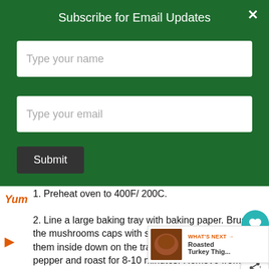Subscribe for Email Updates
Type your name
Type your email
Submit
1. Preheat oven to 400F/ 200C.
2. Line a large baking tray with baking paper. Brush the mushrooms caps with some olive oil and place them inside down on the tray. Season with salt and pepper and roast for 8-10 minutes. Remove from oven, drain any liquid excess and turn them over. Set aside
3. Meanwhile, heat olive oil in a frying pan. Add onion, garlic, chopped mushroom stems, basil